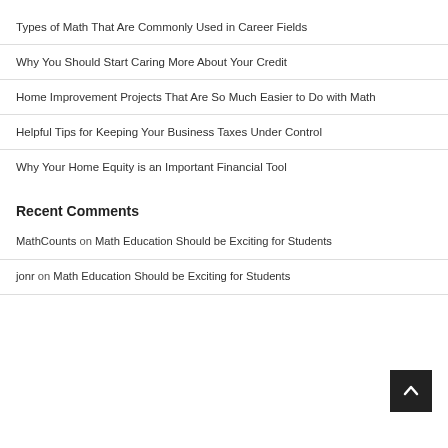Types of Math That Are Commonly Used in Career Fields
Why You Should Start Caring More About Your Credit
Home Improvement Projects That Are So Much Easier to Do with Math
Helpful Tips for Keeping Your Business Taxes Under Control
Why Your Home Equity is an Important Financial Tool
Recent Comments
MathCounts on Math Education Should be Exciting for Students
jonr on Math Education Should be Exciting for Students